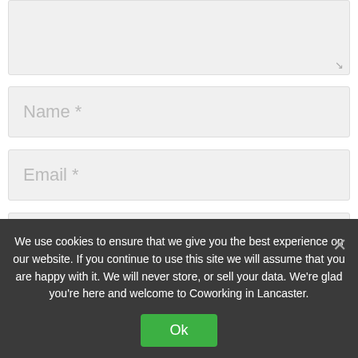[Figure (screenshot): Textarea input field (comment box) with resize handle at bottom right, light gray background]
Name *
Email *
Website
Notify me of follow-up comments by email.
[Figure (illustration): Blue accessibility (wheelchair person) icon circle, positioned over the email/website fields]
We use cookies to ensure that we give you the best experience on our website. If you continue to use this site we will assume that you are happy with it. We will never store, or sell your data. We're glad you're here and welcome to Coworking in Lancaster.
Ok
Submit Comment